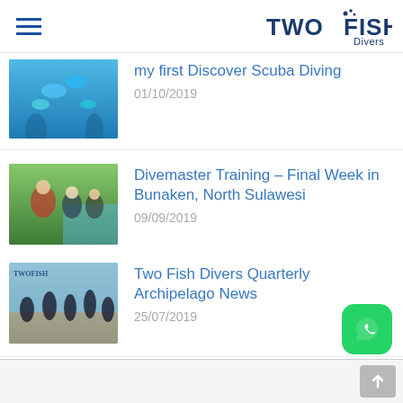Two Fish Divers
my first Discover Scuba Diving
01/10/2019
Divemaster Training – Final Week in Bunaken, North Sulawesi
09/09/2019
Two Fish Divers Quarterly Archipelago News
25/07/2019